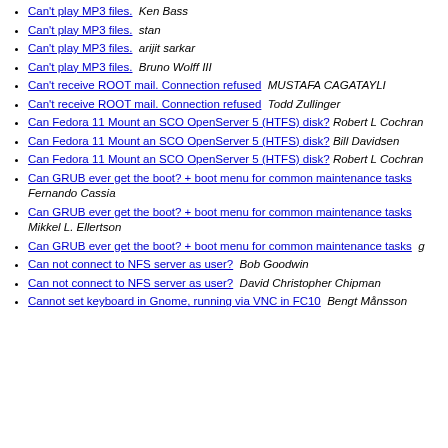Can't play MP3 files.  Ken Bass
Can't play MP3 files.  stan
Can't play MP3 files.  arijit sarkar
Can't play MP3 files.  Bruno Wolff III
Can't receive ROOT mail. Connection refused  MUSTAFA CAGATAYLI
Can't receive ROOT mail. Connection refused  Todd Zullinger
Can Fedora 11 Mount an SCO OpenServer 5 (HTFS) disk?  Robert L Cochran
Can Fedora 11 Mount an SCO OpenServer 5 (HTFS) disk?  Bill Davidsen
Can Fedora 11 Mount an SCO OpenServer 5 (HTFS) disk?  Robert L Cochran
Can GRUB ever get the boot? + boot menu for common maintenance tasks  Fernando Cassia
Can GRUB ever get the boot? + boot menu for common maintenance tasks  Mikkel L. Ellertson
Can GRUB ever get the boot? + boot menu for common maintenance tasks  g
Can not connect to NFS server as user?  Bob Goodwin
Can not connect to NFS server as user?  David Christopher Chipman
Cannot set keyboard in Gnome, running via VNC in FC10  Bengt Månsson